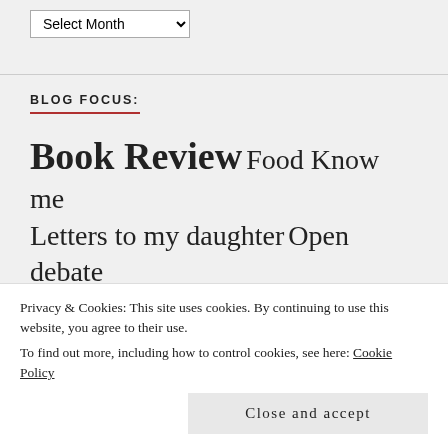Select Month
BLOG FOCUS:
Book Review Food Know me Letters to my daughter Open debate Parenting Personal
Privacy & Cookies: This site uses cookies. By continuing to use this website, you agree to their use.
To find out more, including how to control cookies, see here: Cookie Policy
Close and accept